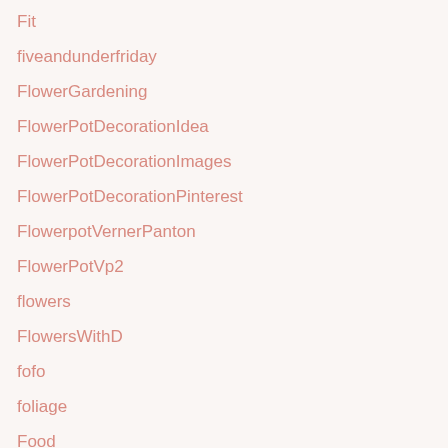Fit
fiveandunderfriday
FlowerGardening
FlowerPotDecorationIdea
FlowerPotDecorationImages
FlowerPotDecorationPinterest
FlowerpotVernerPanton
FlowerPotVp2
flowers
FlowersWithD
fofo
foliage
Food
FoodNews
FoodWarmingScholl29065Dimensions